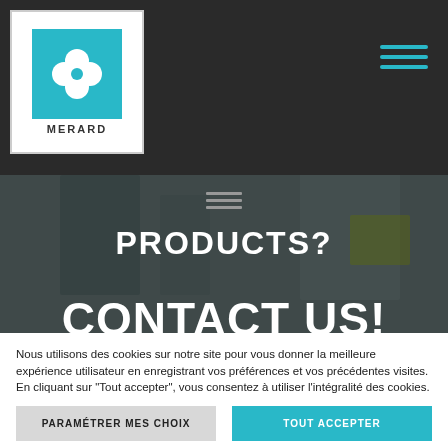[Figure (logo): Merard logo — four-leaf clover on teal background with MERARD text below]
[Figure (screenshot): Website header with dark background, hamburger menu icon in teal top right, small hamburger icon center, hero background image of industrial/office setting]
PRODUCTS?
CONTACT US!
Nous utilisons des cookies sur notre site pour vous donner la meilleure expérience utilisateur en enregistrant vos préférences et vos précédentes visites. En cliquant sur "Tout accepter", vous consentez à utiliser l'intégralité des cookies. Cependant, vous pouvez cliquer sur « Paramétrer mes choix » pour fournir un consentement contrôlé.
PARAMÉTRER MES CHOIX
TOUT ACCEPTER